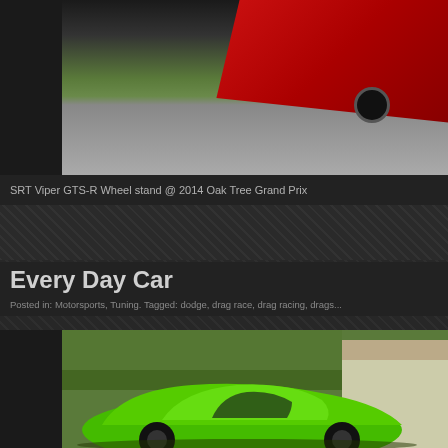[Figure (photo): Racing car (red SRT Viper GTS-R) doing a wheel stand at the 2014 Oak Tree Grand Prix, on a race track with green grass visible]
SRT Viper GTS-R Wheel stand @ 2014 Oak Tree Grand Prix
Posted by admin on June 12, 2020
Every Day Car
Posted in: Motorsports, Tuning. Tagged: dodge, drag race, drag racing, drags...
[Figure (photo): Bright green Dodge Viper sports car parked in a residential driveway with trees and a house in the background]